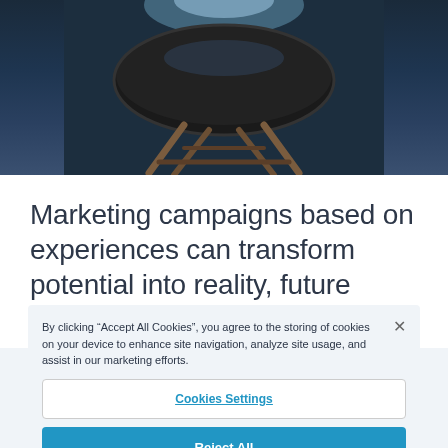[Figure (photo): Top portion of a dark modern chair photographed from above/side against a dark blue-grey background, showing the seat and wooden legs in a moody lighting]
Marketing campaigns based on experiences can transform potential into reality, future clients into current clients
By clicking “Accept All Cookies”, you agree to the storing of cookies on your device to enhance site navigation, analyze site usage, and assist in our marketing efforts.
Cookies Settings
Reject All
Accept All Cookies